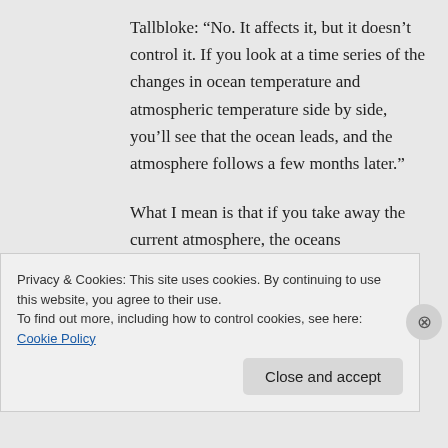Tallbloke: “No. It affects it, but it doesn’t control it. If you look at a time series of the changes in ocean temperature and atmospheric temperature side by side, you’ll see that the ocean leads, and the atmosphere follows a few months later.”
What I mean is that if you take away the current atmosphere, the oceans
Privacy & Cookies: This site uses cookies. By continuing to use this website, you agree to their use.
To find out more, including how to control cookies, see here: Cookie Policy
Close and accept